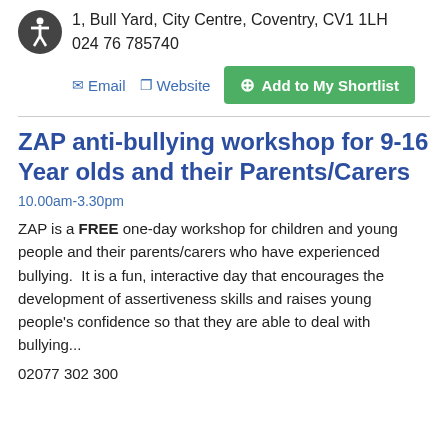1, Bull Yard, City Centre, Coventry, CV1 1LH
024 76 785740
Email  Website  Add to My Shortlist
ZAP anti-bullying workshop for 9-16 Year olds and their Parents/Carers
10.00am-3.30pm
ZAP is a FREE one-day workshop for children and young people and their parents/carers who have experienced bullying.  It is a fun, interactive day that encourages the development of assertiveness skills and raises young people's confidence so that they are able to deal with bullying...
02077 302 300